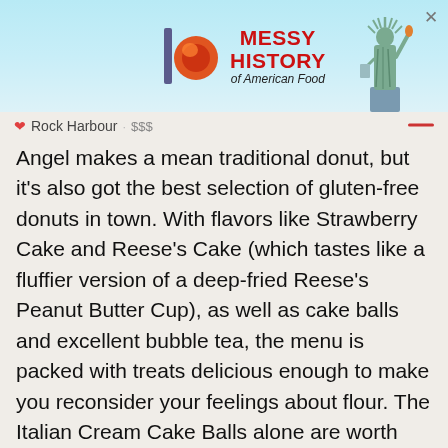[Figure (other): Advertisement banner for 'Messy History of American Food' featuring colorful logo and Statue of Liberty illustration]
❤ Rock Harbour · $$$
Angel makes a mean traditional donut, but it's also got the best selection of gluten-free donuts in town. With flavors like Strawberry Cake and Reese's Cake (which tastes like a fluffier version of a deep-fried Reese's Peanut Butter Cup), as well as cake balls and excellent bubble tea, the menu is packed with treats delicious enough to make you reconsider your feelings about flour. The Italian Cream Cake Balls alone are worth the trip: a mix of buttermilk, coconut flakes, and walnuts, it's tasty enough to be classified as dessert, but not so sweet that you get a heavy sugar rush after breakfast.
How to order: Stop by for counter service or order takeout and delivery via Uber Eats, DoorDash